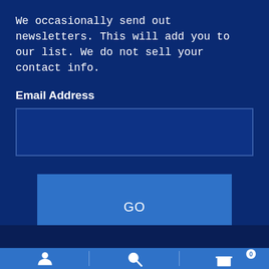We occasionally send out newsletters. This will add you to our list. We do not sell your contact info.
Email Address
[Figure (screenshot): Email address input text field box with dark blue background and border]
[Figure (screenshot): GO submit button with medium blue background]
Bottom navigation bar with user account icon, search icon, and shopping cart icon with badge showing 0